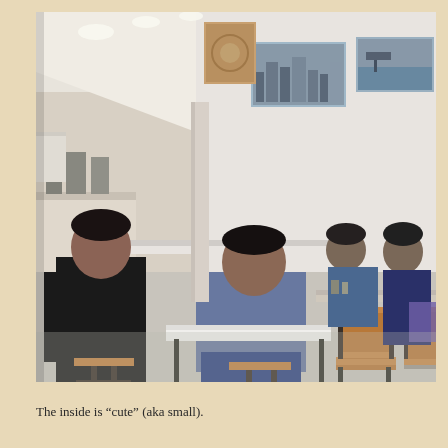[Figure (photo): Interior of a small cafe/restaurant. Several people are seated at wooden bar-height tables with black metal frames. A man in a black t-shirt stands at a counter on the left. A man in a gray hoodie sits at a white-topped table in the center, looking at his phone. Two men sit at wooden tables further back. White walls with photographs/artwork hung on them. Recessed ceiling lights visible. A decorative wooden panel hangs in the background.]
The inside is “cute” (aka small).